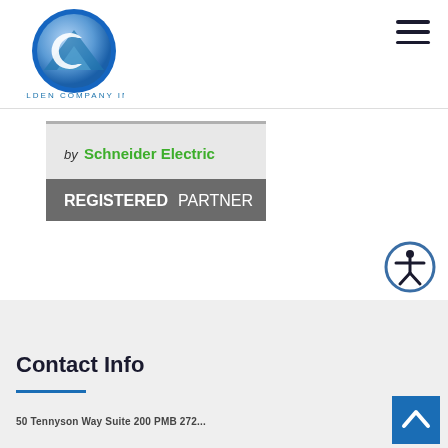[Figure (logo): Colden Company Inc circular logo with mountain/glacier graphic in blue and white, with text COLDEN COMPANY INC below]
[Figure (logo): Schneider Electric Registered Partner badge - gray and dark gray banner with text 'by Schneider Electric' in green and 'REGISTERED PARTNER' in white bold text]
[Figure (other): Accessibility icon - blue circle with human figure with arms outstretched]
Contact Info
[Figure (other): Back to top button - blue square with upward chevron arrow]
50 Tennyson Way Suite 200 PMB 272...